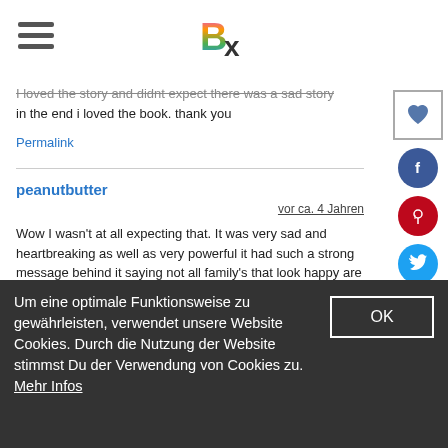Bx logo with hamburger menu
I loved the story and didnt expect there was a sad story in the end i loved the book. thank you
Permalink
peanutbutter
vor ca. 4 Jahren
Wow I wasn't at all expecting that. It was very sad and heartbreaking as well as very powerful it had such a strong message behind it saying not all family's that look happy are happy as in reality their lifes could be absolute hell thank you for finding the courage to write and publish this
Permalink
Um eine optimale Funktionsweise zu gewährleisten, verwendet unsere Website Cookies. Durch die Nutzung der Website stimmst Du der Verwendung von Cookies zu. Mehr Infos
OK
Good